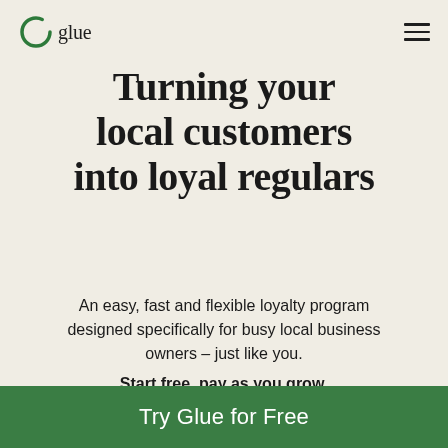[Figure (logo): Glue logo: green circle with a gap at bottom-left suggesting a 'G', followed by the text 'glue' in dark serif font]
Turning your local customers into loyal regulars
An easy, fast and flexible loyalty program designed specifically for busy local business owners – just like you.
Start free, pay as you grow.
Try Glue for Free